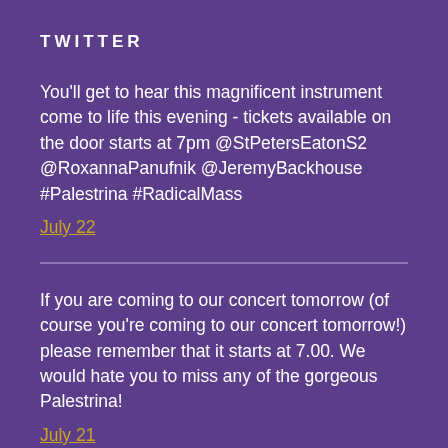TWITTER
You'll get to hear this magnificent instrument come to life this evening - tickets available on the door starts at 7pm @StPetersEatonS2 @RoxannaPanufnik @JeremyBackhouse #Palestrina #RadicalMass
July 22
If you are coming to our concert tomorrow (of course you're coming to our concert tomorrow!) please remember that it starts at 7.00. We would hate you to miss any of the gorgeous Palestrina!
July 21